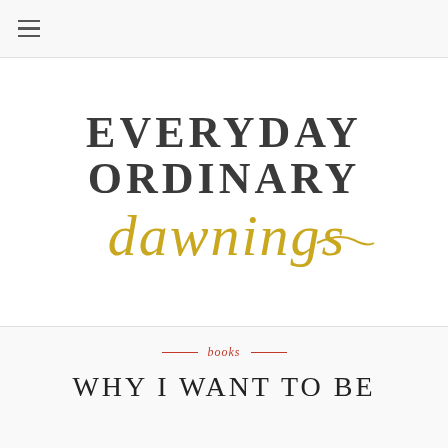≡
[Figure (logo): Everyday Ordinary Dawnings blog logo — 'EVERYDAY ORDINARY' in bold dark serif uppercase letters, 'dawnings' in gold/yellow cursive script below]
books
WHY I WANT TO BE